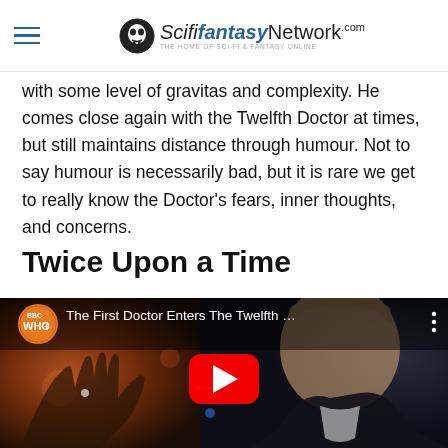ScifiFantasyNetwork.com — THE HOME OF SCI-FI & FANTASY ONLINE
with some level of gravitas and complexity. He comes close again with the Twelfth Doctor at times, but still maintains distance through humour. Not to say humour is necessarily bad, but it is rare we get to really know the Doctor's fears, inner thoughts, and concerns.
Twice Upon a Time
[Figure (screenshot): YouTube video embed showing BBC Doctor Who video titled 'The First Doctor Enters The Twelfth...' with a play button overlay. Scene shows an older man with grey hair in a dark setting with orange/warm bokeh lights.]